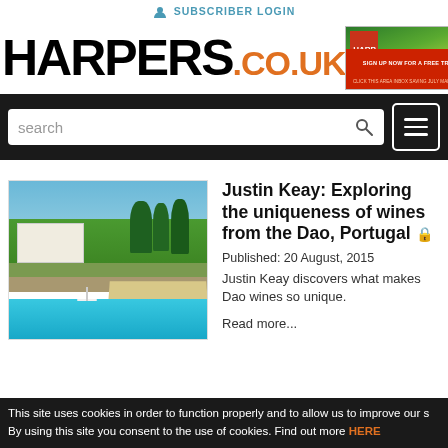SUBSCRIBER LOGIN
[Figure (logo): HARPERS.CO.UK logo with orange .co.uk and advertisement banner]
[Figure (screenshot): Search bar with search input field and hamburger menu on black background]
[Figure (photo): Photo of a Portuguese wine estate with pool, building, trees and vineyards]
Justin Keay: Exploring the uniqueness of wines from the Dao, Portugal
Published:  20 August, 2015
Justin Keay discovers what makes Dao wines so unique.
Read more...
This site uses cookies in order to function properly and to allow us to improve our s By using this site you consent to the use of cookies. Find out more HERE